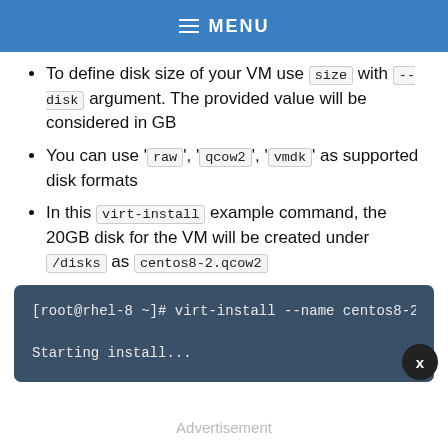MENU
To define disk size of your VM use `size` with --disk argument. The provided value will be considered in GB
You can use 'raw', 'qcow2', 'vmdk' as supported disk formats
In this virt-install example command, the 20GB disk for the VM will be created under /disks as centos8-2.qcow2
[Figure (screenshot): Terminal code block showing: [root@rhel-8 ~]# virt-install --name centos8-2 -- ... Starting install...]
Advertisement